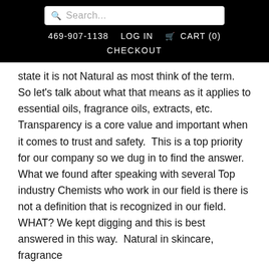Search... | 469-907-1138 | LOG IN | CART (0) | CHECKOUT
state it is not Natural as most think of the term.  So let's talk about what that means as it applies to essential oils, fragrance oils, extracts, etc.  Transparency is a core value and important when it comes to trust and safety.  This is a top priority for our company so we dug in to find the answer.  What we found after speaking with several Top industry Chemists who work in our field is there is not a definition that is recognized in our field.  WHAT? We kept digging and this is best answered in this way.  Natural in skincare, fragrance